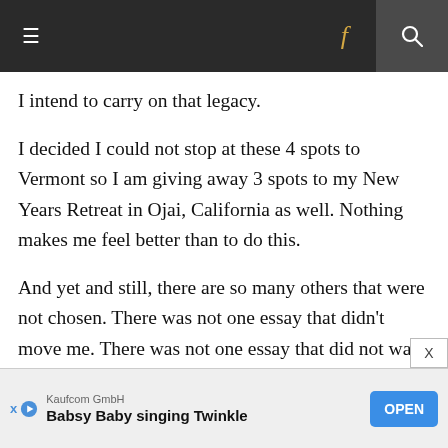≡  f  🔍
I intend to carry on that legacy.
I decided I could not stop at these 4 spots to Vermont so I am giving away 3 spots to my New Years Retreat in Ojai, California as well. Nothing makes me feel better than to do this.
And yet and still, there are so many others that were not chosen. There was not one essay that didn't move me. There was not one essay that did not want me to push through my computer screen and embrace
[Figure (screenshot): Mobile app advertisement banner for Kaufcom GmbH - Babsy Baby singing Twinkle app with OPEN button]